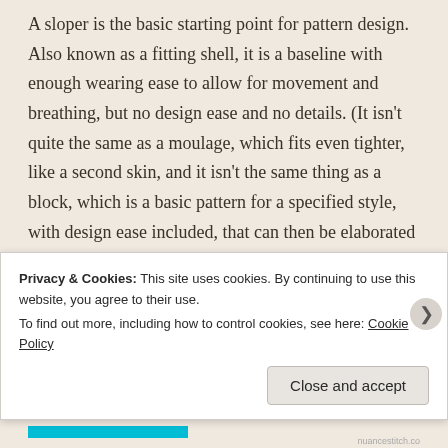A sloper is the basic starting point for pattern design. Also known as a fitting shell, it is a baseline with enough wearing ease to allow for movement and breathing, but no design ease and no details. (It isn't quite the same as a moulage, which fits even tighter, like a second skin, and it isn't the same thing as a block, which is a basic pattern for a specified style, with design ease included, that can then be elaborated with details.) Slopers don't include seam allowances.
WHAT IS A SLOPER USED FOR?
Patterns almost never fit right out of the envelope. This
Privacy & Cookies: This site uses cookies. By continuing to use this website, you agree to their use.
To find out more, including how to control cookies, see here: Cookie Policy